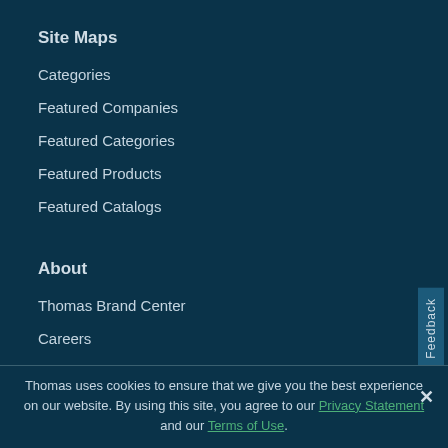Site Maps
Categories
Featured Companies
Featured Categories
Featured Products
Featured Catalogs
About
Thomas Brand Center
Careers
Press Room
Thomas uses cookies to ensure that we give you the best experience on our website. By using this site, you agree to our Privacy Statement and our Terms of Use.